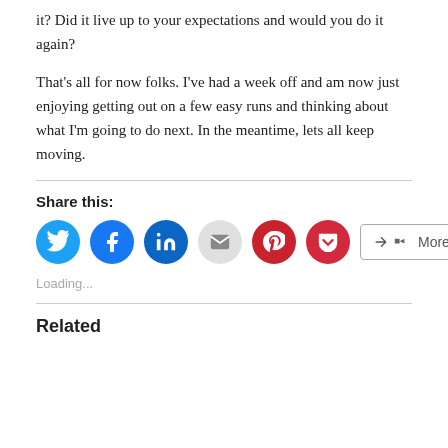it? Did it live up to your expectations and would you do it again?
That's all for now folks. I've had a week off and am now just enjoying getting out on a few easy runs and thinking about what I'm going to do next. In the meantime, lets all keep moving.
Share this:
[Figure (infographic): Social share buttons: Twitter (blue circle), Facebook (blue circle), LinkedIn (dark blue circle), Email (grey circle), Pinterest (red circle), Pocket (red circle), More button]
Loading...
Related